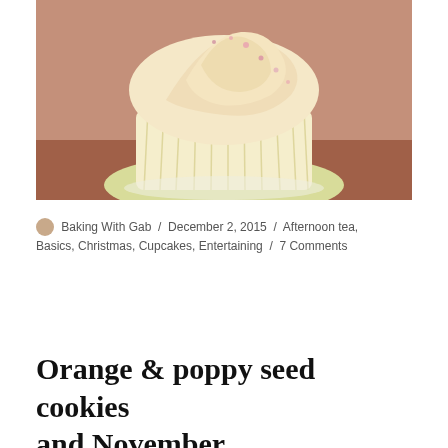[Figure (photo): Close-up photograph of a vanilla cupcake with swirled white/cream frosting topped with pink sprinkles, in a yellow paper cupcake liner, on a pink/brown surface.]
Baking With Gab / December 2, 2015 / Afternoon tea, Basics, Christmas, Cupcakes, Entertaining / 7 Comments
Orange & poppy seed cookies and November